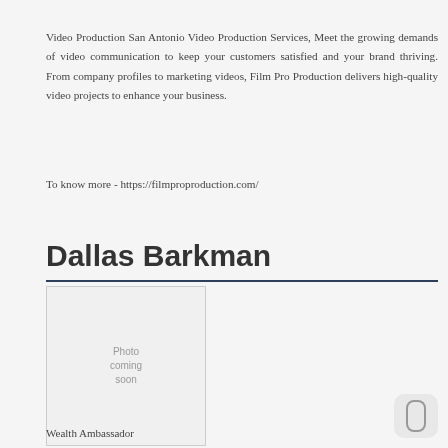Video Production San Antonio Video Production Services, Meet the growing demands of video communication to keep your customers satisfied and your brand thriving. From company profiles to marketing videos, Film Pro Production delivers high-quality video projects to enhance your business.
To know more - https://filmproproduction.com/
Dallas Barkman
[Figure (photo): Placeholder image box with text 'Photo coming soon']
Wealth Ambassador